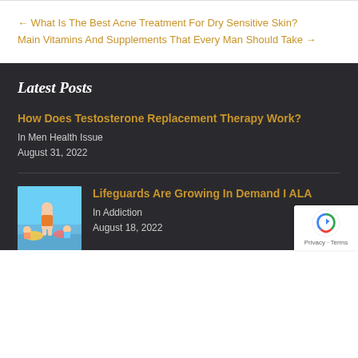← What Is The Best Acne Treatment For Dry Sensitive Skin?
Main Vitamins And Supplements That Every Man Should Take →
Latest Posts
How Does Testosterone Replacement Therapy Work?
In Men Health Issue
August 31, 2022
[Figure (photo): Lifeguard at pool with children]
Lifeguards Are Growing In Demand I ALA
In Addiction
August 18, 2022